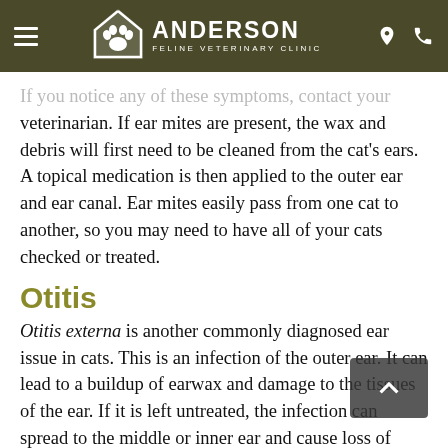ANDERSON FELINE VETERINARY CLINIC
If you notice any of these symptoms, contact your veterinarian. If ear mites are present, the wax and debris will first need to be cleaned from the cat's ears. A topical medication is then applied to the outer ear and ear canal. Ear mites easily pass from one cat to another, so you may need to have all of your cats checked or treated.
Otitis
Otitis externa is another commonly diagnosed ear issue in cats. This is an infection of the outer ear. It can lead to a buildup of earwax and damage to the tissues of the ear. If it is left untreated, the infection can spread to the middle or inner ear and cause loss of hearing—partial or total—or balance problems.